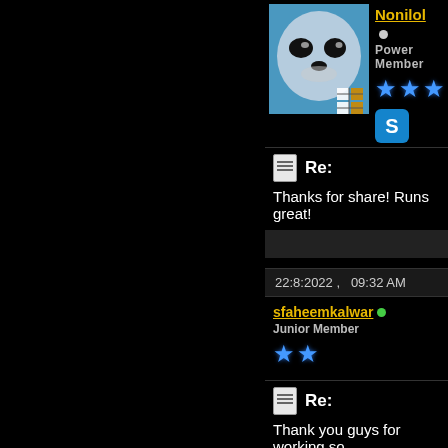[Figure (photo): Avatar photo of a white baby seal with blue tinted background, with a 2x2 grid icon overlay in bottom-right corner]
Nonilol • Power Member ★★★ [Skype icon]
Re:
Thanks for share! Runs great!
22:8:2022 ,  09:32 AM
sfaheemkalwar ● Junior Member ★★
Re:
Thank you guys for working so